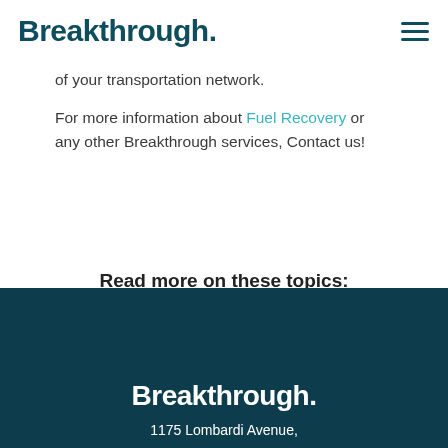Breakthrough.
of your transportation network.
For more information about Fuel Recovery or any other Breakthrough services, Contact us!
Read more on these topics:
CLIENT SUCCESS STORY
FUEL RECOVERY
Breakthrough. 1175 Lombardi Avenue,